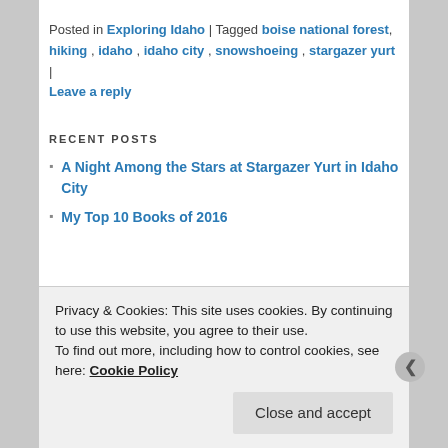Posted in Exploring Idaho | Tagged boise national forest, hiking, idaho, idaho city, snowshoeing, stargazer yurt | Leave a reply
RECENT POSTS
A Night Among the Stars at Stargazer Yurt in Idaho City
My Top 10 Books of 2016
Privacy & Cookies: This site uses cookies. By continuing to use this website, you agree to their use. To find out more, including how to control cookies, see here: Cookie Policy
Close and accept